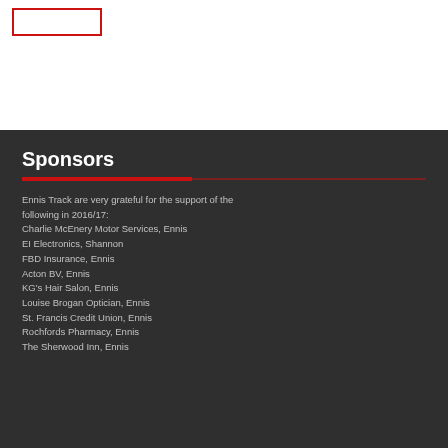[Figure (logo): Red outlined rectangle logo box in top-left corner]
Sponsors
Ennis Track are very grateful for the support of the following in 2016/17:
Charlie McEnery Motor Services, Ennis
EI Electronics, Shannon
FBD Insurance, Ennis
Acton BV, Ennis
KG's Hair Salon, Ennis
Louise Brogan Optician, Ennis
St. Francis Credit Union, Ennis
Rochfords Pharmacy, Ennis
The Sherwood Inn, Ennis